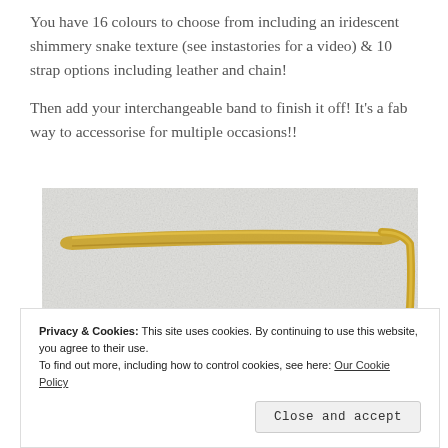You have 16 colours to choose from including an iridescent shimmery snake texture (see instastories for a video) & 10 strap options including leather and chain!
Then add your interchangeable band to finish it off! It's a fab way to accessorise for multiple occasions!!
[Figure (photo): Photo of a gold chain strap/band laid out on a white fluffy surface]
Privacy & Cookies: This site uses cookies. By continuing to use this website, you agree to their use.
To find out more, including how to control cookies, see here: Our Cookie Policy